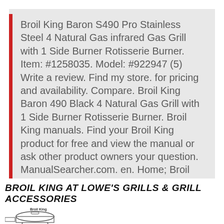Broil King Baron S490 Pro Stainless Steel 4 Natural Gas infrared Gas Grill with 1 Side Burner Rotisserie Burner. Item: #1258035. Model: #922947 (5) Write a review. Find my store. for pricing and availability. Compare. Broil King Baron 490 Black 4 Natural Gas Grill with 1 Side Burner Rotisserie Burner. Broil King manuals. Find your Broil King product for free and view the manual or ask other product owners your question. ManualSearcher.com. en. Home; Broil King; Broil King Baron 440. manual. Broil King Sovereign 90. manual. Broil King Keg 5000. manual. Broil King Regal XL. manual. Broil King Baron вЂ¦
BROIL KING AT LOWE'S GRILLS & GRILL ACCESSORIES
[Figure (illustration): Small sketch/thumbnail image of a Broil King grill with brand name label visible]